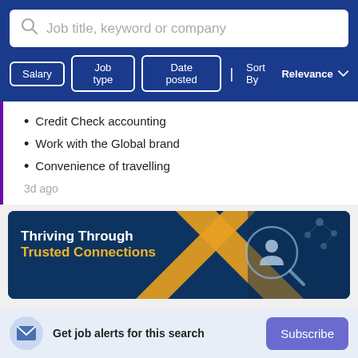[Figure (screenshot): Search bar with placeholder text 'Job title, keyword or company' on a dark blue background]
[Figure (screenshot): Filter buttons: Salary, Job type, Date posted, and Sort By Relevance dropdown on dark blue background]
Credit Check accounting
Work with the Global brand
Convenience of travelling
3d ago
[Figure (infographic): Banner ad: 'Thriving Through Trusted Connections' with dark blue background, yellow X shape, person silhouette with magnifying glass and network of people icons]
Get job alerts for this search